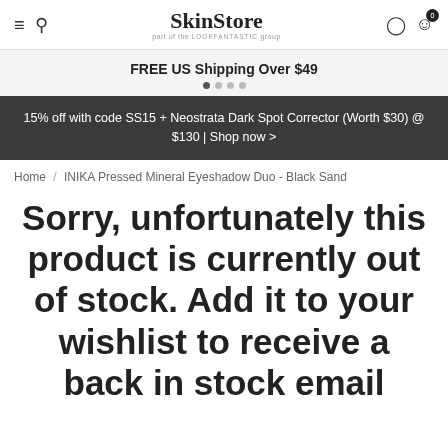SkinStore — part of the LOOKFANTASTIC group
FREE US Shipping Over $49
15% off with code SS15 + Neostrata Dark Spot Corrector (Worth $30) @ $130 | Shop now >
Home / INIKA Pressed Mineral Eyeshadow Duo - Black Sand
Sorry, unfortunately this product is currently out of stock. Add it to your wishlist to receive a back in stock email